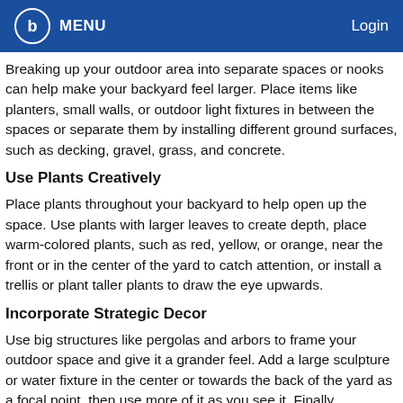MENU | Login
Breaking up your outdoor area into separate spaces or nooks can help make your backyard feel larger. Place items like planters, small walls, or outdoor light fixtures in between the spaces or separate them by installing different ground surfaces, such as decking, gravel, grass, and concrete.
Use Plants Creatively
Place plants throughout your backyard to help open up the space. Use plants with larger leaves to create depth, place warm-colored plants, such as red, yellow, or orange, near the front or in the center of the yard to catch attention, or install a trellis or plant taller plants to draw the eye upwards.
Incorporate Strategic Decor
Use big structures like pergolas and arbors to frame your outdoor space and give it a grander feel. Add a large sculpture or water fixture in the center or towards the back of the yard as a focal point, then use more of it as you see it. Finally,